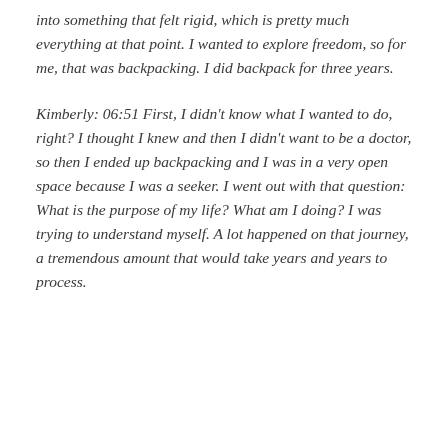into something that felt rigid, which is pretty much everything at that point. I wanted to explore freedom, so for me, that was backpacking. I did backpack for three years.
Kimberly: 06:51 First, I didn't know what I wanted to do, right? I thought I knew and then I didn't want to be a doctor, so then I ended up backpacking and I was in a very open space because I was a seeker. I went out with that question: What is the purpose of my life? What am I doing? I was trying to understand myself. A lot happened on that journey, a tremendous amount that would take years and years to process.